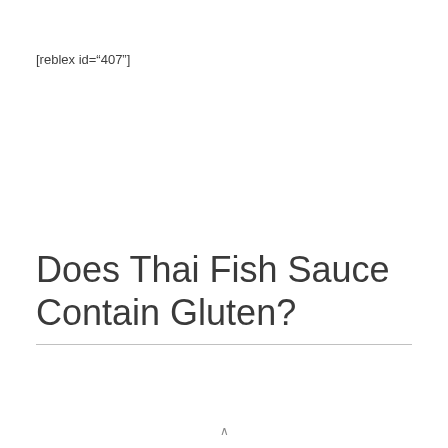[reblex id="407"]
Does Thai Fish Sauce Contain Gluten?